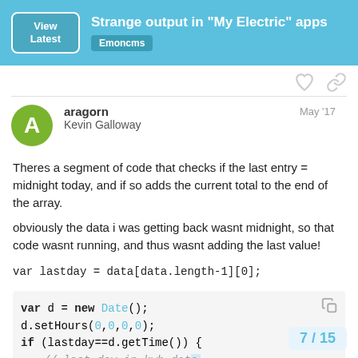Strange output in "My Electric" apps — Emoncms
aragorn Kevin Galloway May '17
Theres a segment of code that checks if the last entry = midnight today, and if so adds the current total to the end of the array.
obviously the data i was getting back wasnt midnight, so that code wasnt running, and thus wasnt adding the last value!
var lastday = data[data.length-1][0];
[Figure (screenshot): Code block showing JavaScript: var d = new Date(); d.setHours(0,0,0,0); if (lastday==d.getTime()) { // last day in kwh data... // which means its safe...]
7 / 15